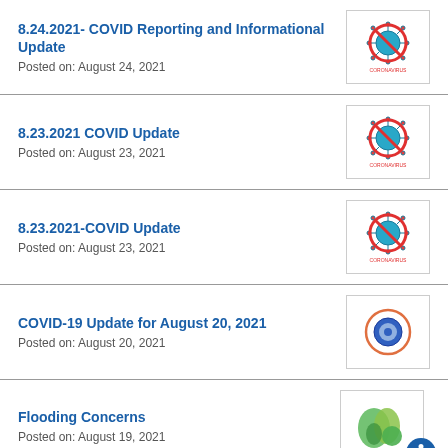8.24.2021- COVID Reporting and Informational Update
Posted on: August 24, 2021
8.23.2021 COVID Update
Posted on: August 23, 2021
8.23.2021-COVID Update
Posted on: August 23, 2021
COVID-19 Update for August 20, 2021
Posted on: August 20, 2021
Flooding Concerns
Posted on: August 19, 2021